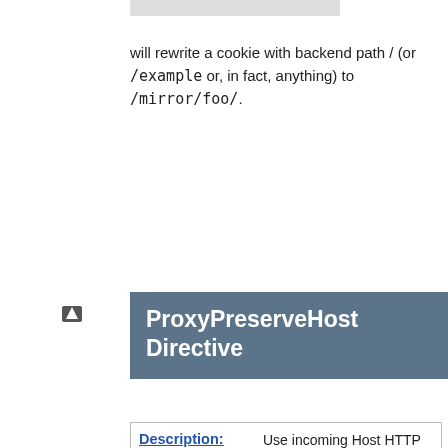will rewrite a cookie with backend path / (or /example or, in fact, anything) to /mirror/foo/.
ProxyPreserveHost Directive
| Field | Value |
| --- | --- |
| Description: | Use incoming Host HTTP request header for proxy request |
| Syntax: | ProxyPreserveHost On|Off |
| Default: | ProxyPreserveHost Off |
| Context: | server config, virtual host, directory |
| Status: | Extension |
| Module: | mod_proxy |
| Compatibility: | Usable in directory context in 2.3.3 and |